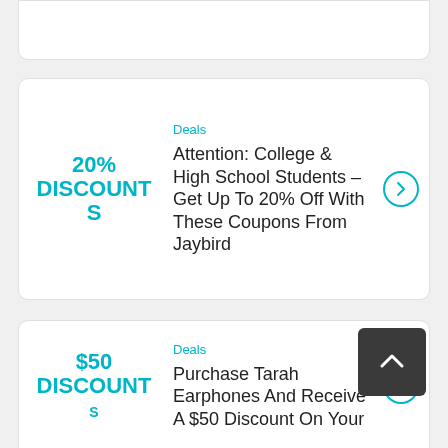[Figure (screenshot): Partial card at top showing a discount offer, cropped]
Deals
Attention: College & High School Students – Get Up To 20% Off With These Coupons From Jaybird
20% DISCOUNTS
Deals
Purchase Tarah Earphones And Receive A $50 Discount On Your
$50 DISCOUNT